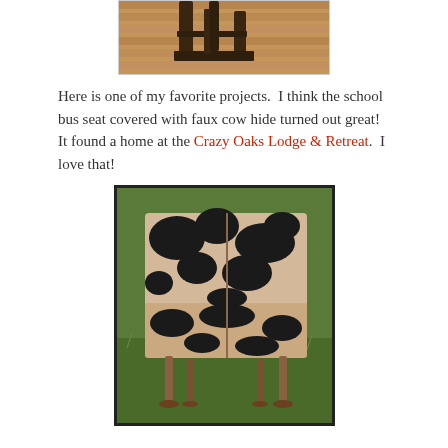[Figure (photo): Partial view of a wooden furniture piece (likely a chair or table) on a hardwood floor]
Here is one of my favorite projects.  I think the school bus seat covered with faux cow hide turned out great!  It found a home at the Crazy Oaks Lodge & Retreat.  I love that!
[Figure (photo): A school bus seat covered with faux cow hide (black and white/cream pattern) with metal legs, sitting on grass outdoors]